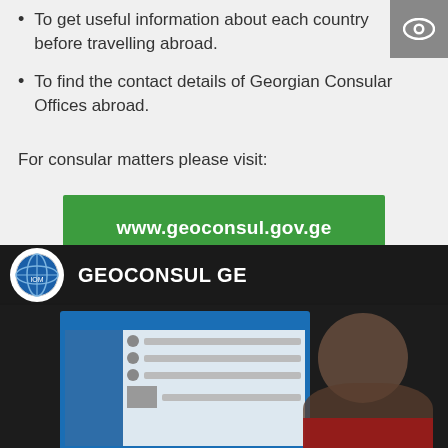To get useful information about each country before travelling abroad.
To find the contact details of Georgian Consular Offices abroad.
For consular matters please visit:
[Figure (other): Green button linking to www.geoconsul.gov.ge]
[Figure (screenshot): Screenshot of GEOCONSUL GE website/channel with globe logo and a monitor showing the geoconsul website interface, with a person visible in the background.]